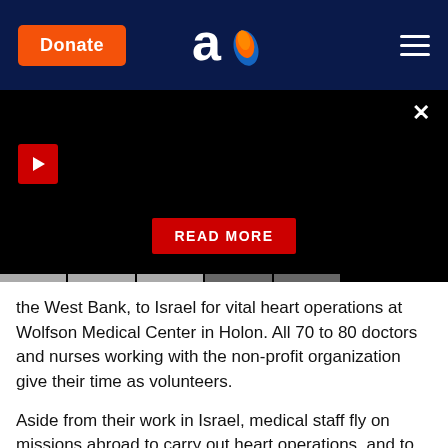Donate | Aish logo | Menu
[Figure (screenshot): Black video thumbnail with red play button in top left, a red READ MORE button in the center-bottom, and an X close button in the top right. Progress indicator dots along the bottom.]
the West Bank, to Israel for vital heart operations at Wolfson Medical Center in Holon. All 70 to 80 doctors and nurses working with the non-profit organization give their time as volunteers.
Aside from their work in Israel, medical staff fly on missions abroad to carry out heart operations, and to teach local doctors the latest surgical techniques. The organization also trains physicians from abroad in Israel.